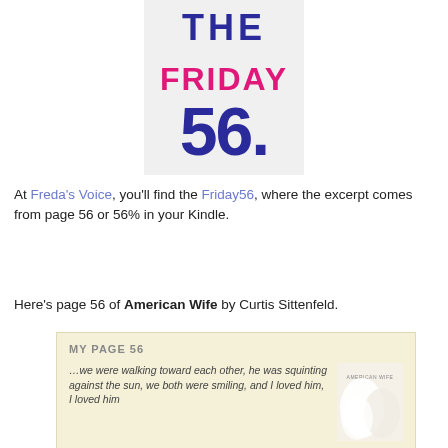[Figure (logo): Friday 56 logo with decorative text showing 'FRIDAY' in pink and '56' in blue, stylized typography]
At Freda's Voice, you'll find the Friday56, where the excerpt comes from page 56 or 56% in your Kindle.
Here's page 56 of American Wife by Curtis Sittenfeld.
[Figure (screenshot): Book card with cream/yellow background titled 'MY PAGE 56' showing italic excerpt text: '…we were walking toward each other, he was squinting against the sun, we both were smiling, and I loved him, I loved him' alongside a book cover image for 'American Wife']